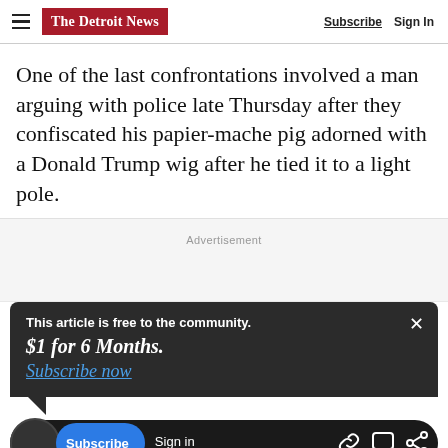The Detroit News | Subscribe  Sign In
One of the last confrontations involved a man arguing with police late Thursday after they confiscated his papier-mache pig adorned with a Donald Trump wig after he tied it to a light pole.
Advertisement
This article is free to the community.
$1 for 6 Months.
Subscribe now